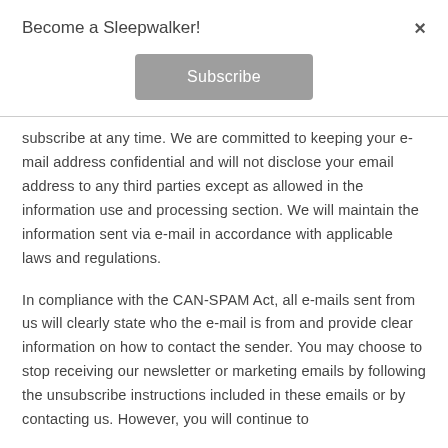Become a Sleepwalker!
Subscribe
subscribe at any time. We are committed to keeping your e-mail address confidential and will not disclose your email address to any third parties except as allowed in the information use and processing section. We will maintain the information sent via e-mail in accordance with applicable laws and regulations.
In compliance with the CAN-SPAM Act, all e-mails sent from us will clearly state who the e-mail is from and provide clear information on how to contact the sender. You may choose to stop receiving our newsletter or marketing emails by following the unsubscribe instructions included in these emails or by contacting us. However, you will continue to